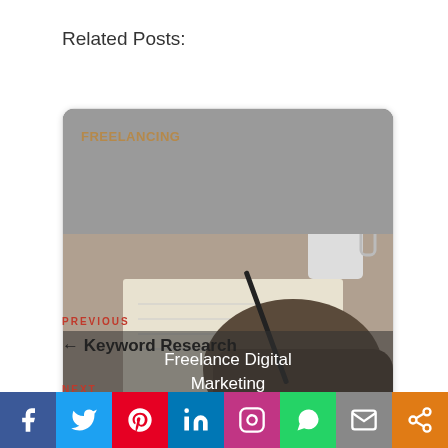Related Posts:
[Figure (photo): Card showing a person writing/drawing at a desk with a coffee mug in background, tagged FREELANCING, with overlay title 'Freelance Digital Marketing']
PREVIOUS
← Keyword Research
NEXT
CSS for HTML →
[Figure (infographic): Social media share bar with Facebook, Twitter, Pinterest, LinkedIn, Instagram, WhatsApp, Email, and Share buttons]